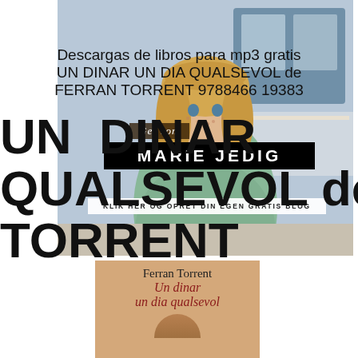Descargas de libros para mp3 gratis UN DINAR UN DIA QUALSEVOL de FERRAN TORRENT 9788466 19383
[Figure (photo): Young woman with blonde hair wearing a mint green knit sweater, standing in front of a train/metro. Overlaid with promotional blog text: 'Ger som', 'MARIE JEDIG', 'KLIK HER OG OPRET DIN EGEN GRATIS BLOG']
UN DINAR UN DIA QUALSEVOL de FERRAN TORRENT
[Figure (photo): Book cover with tan/beige background: 'Ferran Torrent' (author), 'Un dinar un dia qualsevol' (title in red italic), partial figure/illustration at bottom]